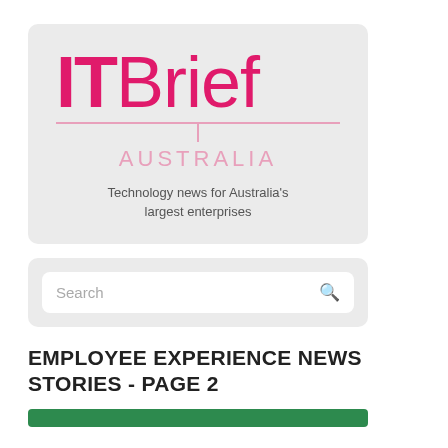[Figure (logo): IT Brief Australia logo with tagline 'Technology news for Australia's largest enterprises' on a light grey card background]
[Figure (screenshot): Search bar with placeholder text 'Search' and a magnifying glass icon on a light grey card background]
EMPLOYEE EXPERIENCE NEWS STORIES - PAGE 2